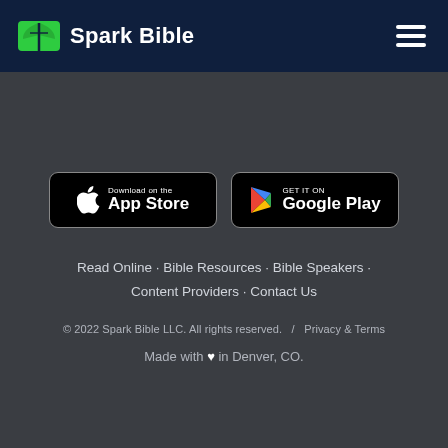Spark Bible
[Figure (logo): App Store download button (Apple)]
[Figure (logo): Google Play download button]
Read Online · Bible Resources · Bible Speakers · Content Providers · Contact Us
© 2022 Spark Bible LLC. All rights reserved.   /   Privacy & Terms
Made with ♥ in Denver, CO.